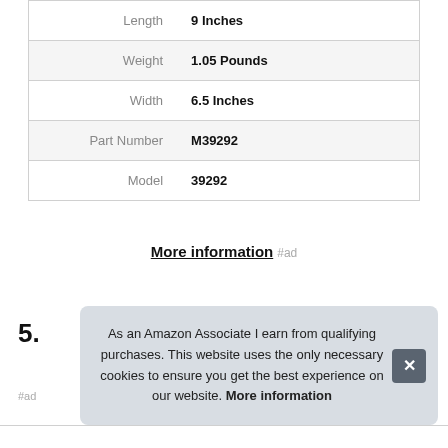| Attribute | Value |
| --- | --- |
| Length | 9 Inches |
| Weight | 1.05 Pounds |
| Width | 6.5 Inches |
| Part Number | M39292 |
| Model | 39292 |
More information #ad
5.
As an Amazon Associate I earn from qualifying purchases. This website uses the only necessary cookies to ensure you get the best experience on our website. More information
#ad